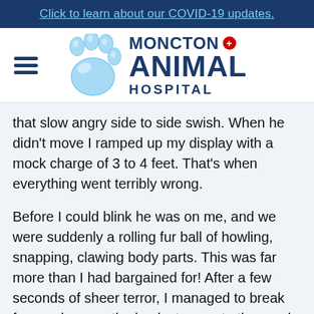Click to learn about our COVID-19 updates.
[Figure (logo): Moncton Animal Hospital logo with blue paw print and text]
that slow angry side to side swish. When he didn't move I ramped up my display with a mock charge of 3 to 4 feet. That's when everything went terribly wrong.
Before I could blink he was on me, and we were suddenly a rolling fur ball of howling, snapping, clawing body parts. This was far more than I had bargained for! After a few seconds of sheer terror, I managed to break free and run up the back steps onto the porch. What had just